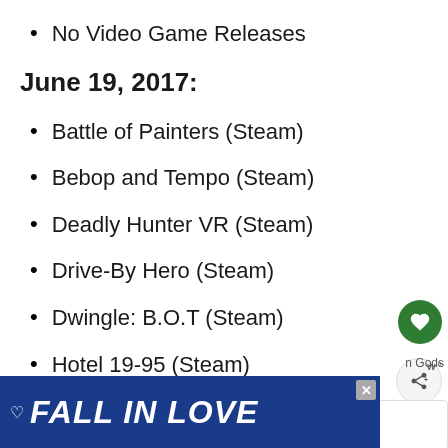No Video Game Releases
June 19, 2017:
Battle of Painters (Steam)
Bebop and Tempo (Steam)
Deadly Hunter VR (Steam)
Drive-By Hero (Steam)
Dwingle: B.O.T (Steam)
Hotel 19-95 (Steam)
Keep Defending (Steam)